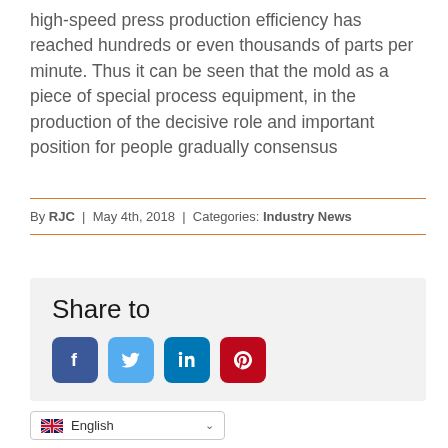high-speed press production efficiency has reached hundreds or even thousands of parts per minute. Thus it can be seen that the mold as a piece of special process equipment, in the production of the decisive role and important position for people gradually consensus
By RJC | May 4th, 2018 | Categories: Industry News
Share to
[Figure (infographic): Social media share buttons: Facebook, Twitter, LinkedIn, Pinterest]
English (language selector dropdown)